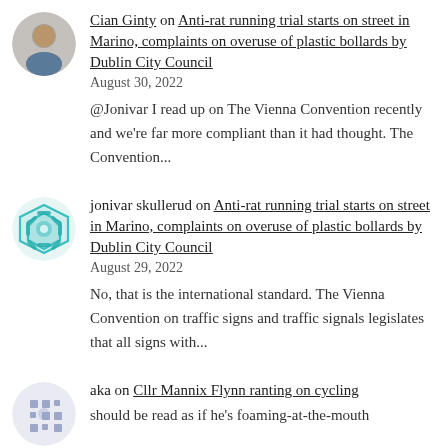[Figure (photo): Profile photo of a man]
Cian Ginty on Anti-rat running trial starts on street in Marino, complaints on overuse of plastic bollards by Dublin City Council
August 30, 2022
@Jonivar I read up on The Vienna Convention recently and we're far more compliant than it had thought. The Convention...
[Figure (illustration): Teal snowflake/geometric pattern avatar for jonivar skullerud]
jonivar skullerud on Anti-rat running trial starts on street in Marino, complaints on overuse of plastic bollards by Dublin City Council
August 29, 2022
No, that is the international standard. The Vienna Convention on traffic signs and traffic signals legislates that all signs with...
[Figure (illustration): Grey/blue geometric pattern avatar for aka]
aka on Cllr Mannix Flynn ranting on cycling should be read as if he's foaming-at-the-mouth